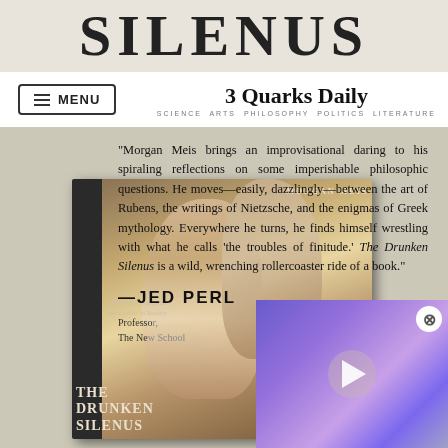SILENUS
3 Quarks Daily — SCIENCE ARTS PHILOSOPHY POLITICS LITERATURE
[Figure (photo): Book cover and advertisement for 'The Drunken Silenus' by Morgan Meis, showing a classical painting of figures on the cover. Adjacent text contains a blurb quote by Jed Perl and a partially visible video overlay with purple/blue abstract background and play button.]
"Morgan Meis brings an improvisational daring to his spiraling reflections on some imperishable philosophic questions. He moves—easily, dazzlingly—between the art of Rubens, the writings of Nietzsche, and the enigmas of Greek mythology. Everywhere he turns, he finds himself wrestling with what he calls 'the troubles of finitude.' The Drunken Silenus is a wild, wrenching rollercoaster ride of a book." —JED PERL Professor, The Ne[w School]